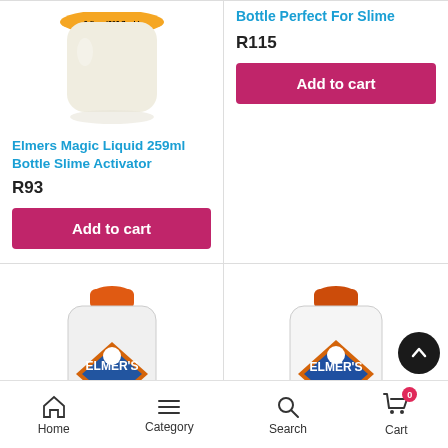[Figure (photo): Elmers Magic Liquid 259ml bottle product image, top cropped]
[Figure (photo): Product bottle with orange cap - partial image showing price R115 and add to cart button for 'Bottle Perfect For Slime']
Elmers Magic Liquid 259ml Bottle Slime Activator
R93
Add to cart
Bottle Perfect For Slime
R115
Add to cart
[Figure (photo): Elmer's Clear Glue bottle with orange cap]
[Figure (photo): Elmer's glue bottle with orange cap, right column]
Home   Category   Search   Cart (0)